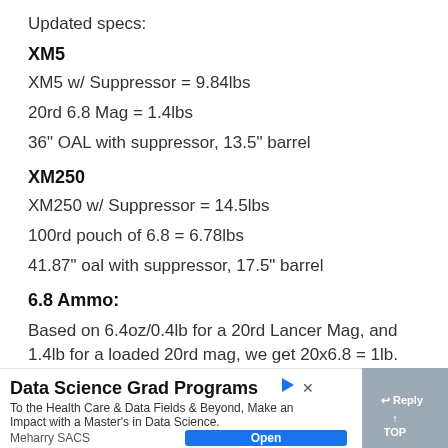Updated specs:
XM5
XM5 w/ Suppressor = 9.84lbs
20rd 6.8 Mag = 1.4lbs
36" OAL with suppressor, 13.5" barrel
XM250
XM250 w/ Suppressor = 14.5lbs
100rd pouch of 6.8 = 6.78lbs
41.87" oal with suppressor, 17.5" barrel
6.8 Ammo:
Based on 6.4oz/0.4lb for a 20rd Lancer Mag, and 1.4lb for a loaded 20rd mag, we get 20x6.8 = 1lb.
[Figure (infographic): Advertisement banner: 'Data Science Grad Programs' by Meharry SACS with Open button and close X button. Reply and TOP navigation buttons on right side.]